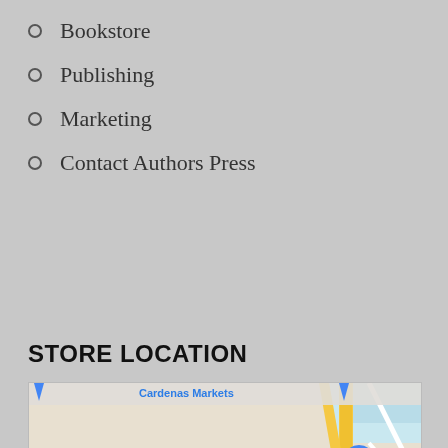Bookstore
Publishing
Marketing
Contact Authors Press
STORE LOCATION
[Figure (map): Google Maps screenshot showing Costco Wholesale location near Antioch, California, with California Delta Hwy visible and Cardenas Markets labeled at top.]